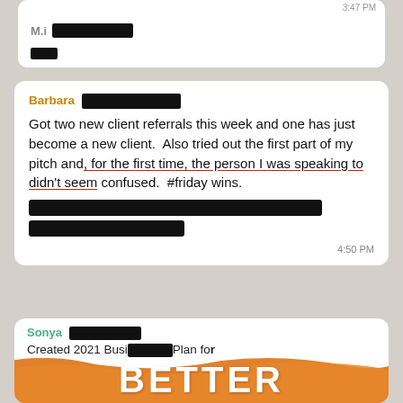[Figure (screenshot): Top of a WhatsApp-style message bubble partially visible at the top of the screen, with a redacted sender name and time stamp, truncated.]
Barbara [REDACTED]
Got two new client referrals this week and one has just become a new client.  Also tried out the first part of my pitch and, for the first time, the person I was speaking to didn't seem confused.  #friday wins.
[REDACTED]
[REDACTED]
4:50 PM
Sonya [REDACTED]
Created 2021 Business Plan for
[Figure (illustration): Orange paint brushstroke banner with white bold text reading 'BETTER' at the bottom of the image.]